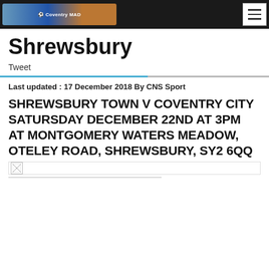CoventriMAD [logo/nav bar]
Shrewsbury
Tweet
Last updated : 17 December 2018 By CNS Sport
SHREWSBURY TOWN V COVENTRY CITY SATURSDAY DECEMBER 22ND AT 3PM AT MONTGOMERY WATERS MEADOW, OTELEY ROAD, SHREWSBURY, SY2 6QQ
[Figure (photo): Broken image placeholder icon]